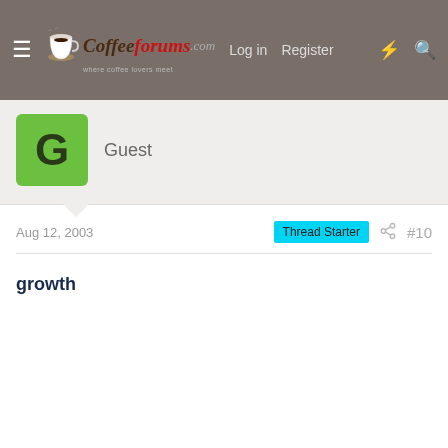CoffeeForums.com — Log in  Register
[Figure (screenshot): Guest user avatar: green square with letter G]
Guest
Aug 12, 2003
Thread Starter  #10
growth